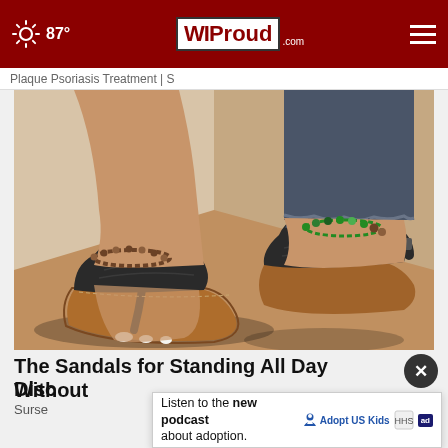87° WIProud.com
Plaque Psoriasis Treatment | S
[Figure (photo): Close-up photo of a pair of dark gray/black orthopedic sandals with tan/brown soles, worn by a person. One foot wears a beaded anklet, the other wears a green and brown beaded anklet. The person is wearing frayed denim jeans. Background is beige/cream.]
The Sandals for Standing All Day Without Disc
Surse
Listen to the new podcast about adoption.  Adopt US Kids  ad